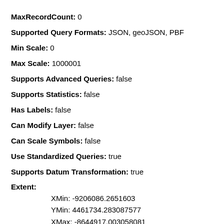MaxRecordCount: 0
Supported Query Formats: JSON, geoJSON, PBF
Min Scale: 0
Max Scale: 1000001
Supports Advanced Queries: false
Supports Statistics: false
Has Labels: false
Can Modify Layer: false
Can Scale Symbols: false
Use Standardized Queries: true
Supports Datum Transformation: true
Extent:
  XMin: -9206086.2651603
  YMin: 4461734.283087577
  XMax: -8644917.003058081
  YMax: 4957054.0683217095